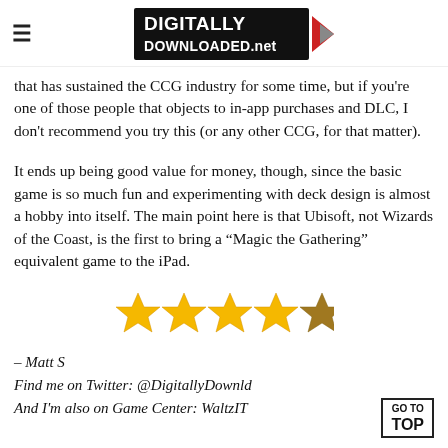DIGITALLY DOWNLOADED.net
that has sustained the CCG industry for some time, but if you're one of those people that objects to in-app purchases and DLC, I don't recommend you try this (or any other CCG, for that matter).
It ends up being good value for money, though, since the basic game is so much fun and experimenting with deck design is almost a hobby into itself. The main point here is that Ubisoft, not Wizards of the Coast, is the first to bring a “Magic the Gathering” equivalent game to the iPad.
[Figure (other): Four and a half gold stars rating (4.5 out of 5 stars)]
– Matt S
Find me on Twitter: @DigitallyDownld
And I'm also on Game Center: WaltzIT